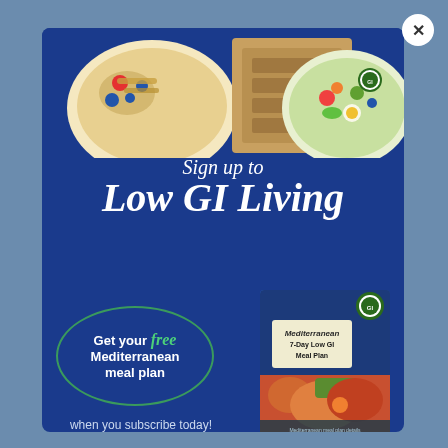[Figure (photo): Food images showing a granola bowl with blueberries, sliced bread, and a colorful salad bowl with eggs]
Sign up to Low GI Living
for the latest news on the glycemic index, certified low GI food products, and low GI recipe inspiration.
Get your free Mediterranean meal plan
when you subscribe today!
[Figure (photo): Mediterranean 7-Day Low GI Meal Plan book cover]